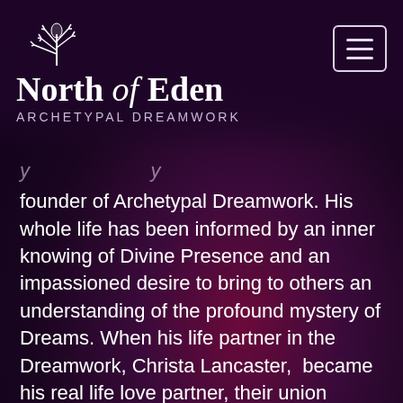[Figure (logo): North of Eden Archetypal Dreamwork logo with thistle/plant icon above the text]
founder of Archetypal Dreamwork. His whole life has been informed by an inner knowing of Divine Presence and an impassioned desire to bring to others an understanding of the profound mystery of Dreams. When his life partner in the Dreamwork, Christa Lancaster,  became his real life love partner, their union sparked a fire in the world. Together they live the Dream journey, incorporating both the mundane and the mystical into their  ongoing exploration of relationship, intimacy and the Divine.